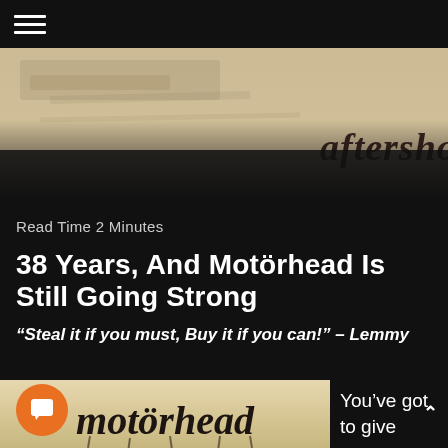[Figure (photo): Partial image of Aftershock album cover or similar metal album cover with gothic lettering partially visible at top, showing 'aftershock' text in gothic style on a beige/tan background]
Read Time 2 Minutes
38 Years, And Motörhead Is Still Going Strong
“Steal it if you must, Buy it if you can!” – Lemmy
[Figure (photo): Motörhead album cover showing gothic 'motörhead' lettering in dripping black style on a beige/tan background with a metallic skull/war helmet at the bottom]
You’ve got to give